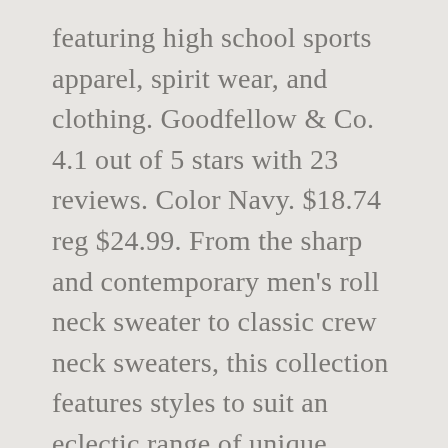featuring high school sports apparel, spirit wear, and clothing. Goodfellow & Co. 4.1 out of 5 stars with 23 reviews. Color Navy. $18.74 reg $24.99. From the sharp and contemporary men's roll neck sweater to classic crew neck sweaters, this collection features styles to suit an eclectic range of unique wardrobes. Color Natural. Color Black. Color Natural. Men's Colorblock Regular Fit Crewneck Sweater ... $45.00. Color Heather Grey. Color Ivory. Color Heather Mineral. Original $60.00. Color Heather Grey. Choose options. Get it as soon as Wed, Dec 16. Color Black. Color Charcoal Donegal. Original $60.00. ... Topman Stitch Mock Neck Short Sleeve Sweater. Color Fair